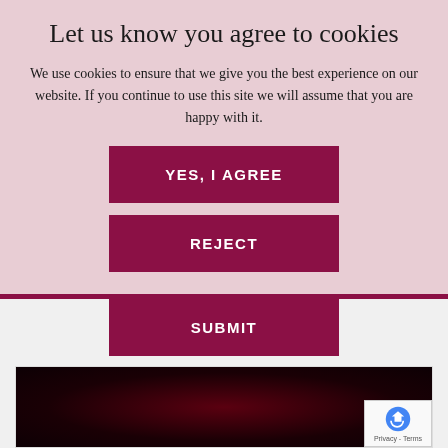Let us know you agree to cookies
We use cookies to ensure that we give you the best experience on our website. If you continue to use this site we will assume that you are happy with it.
YES, I AGREE
REJECT
SUBMIT
[Figure (screenshot): Dark reddish image with reCAPTCHA badge in bottom right corner showing privacy and terms text]